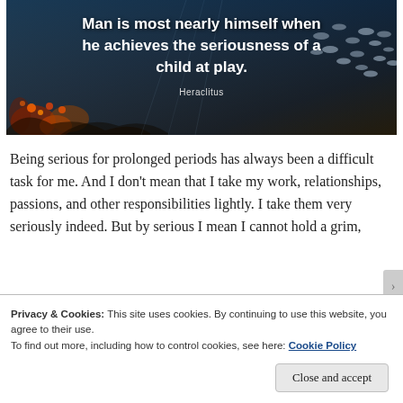[Figure (photo): Underwater ocean scene with fish and coral reef. Dark blue-toned photograph with schools of fish visible on the right side and colorful coral/anemones on the lower left. White bold text overlay quotes Heraclitus.]
Man is most nearly himself when he achieves the seriousness of a child at play.
Heraclitus
Being serious for prolonged periods has always been a difficult task for me. And I don't mean that I take my work, relationships, passions, and other responsibilities lightly. I take them very seriously indeed. But by serious I mean I cannot hold a grim,
Privacy & Cookies: This site uses cookies. By continuing to use this website, you agree to their use.
To find out more, including how to control cookies, see here: Cookie Policy
Close and accept